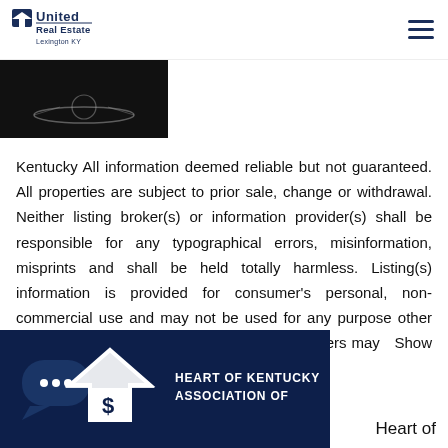[Figure (logo): United Real Estate Lexington KY logo - dark blue text]
[Figure (photo): Partially visible photo strip at top left, dark image]
Kentucky All information deemed reliable but not guaranteed. All properties are subject to prior sale, change or withdrawal. Neither listing broker(s) or information provider(s) shall be responsible for any typographical errors, misinformation, misprints and shall be held totally harmless. Listing(s) information is provided for consumer's personal, non-commercial use and may not be used for any purpose other than to identify prospective properties consumers may   Show More...
[Figure (logo): Heart of Kentucky Association of Realtors logo on dark blue background with house icon and chat bubble]
Heart of